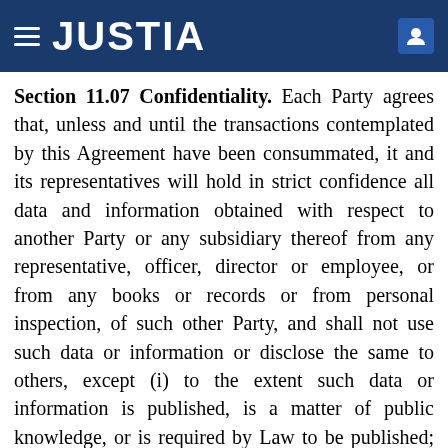JUSTIA
Section 11.07 Confidentiality. Each Party agrees that, unless and until the transactions contemplated by this Agreement have been consummated, it and its representatives will hold in strict confidence all data and information obtained with respect to another Party or any subsidiary thereof from any representative, officer, director or employee, or from any books or records or from personal inspection, of such other Party, and shall not use such data or information or disclose the same to others, except (i) to the extent such data or information is published, is a matter of public knowledge, or is required by Law to be published; or (ii) to the extent that such data or information must be used or disclosed in order to consummate the transactions contemplated by this Agreement. In the event of the termination of this Agreement, each Party shall return to the applicable other Party all documents